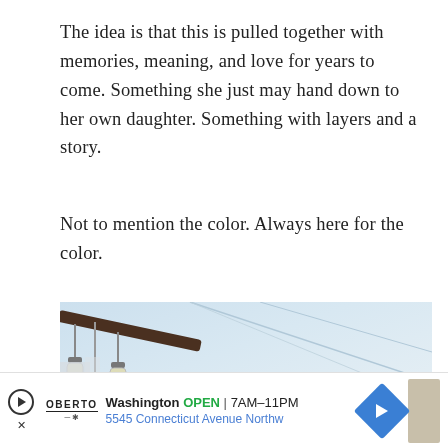The idea is that this is pulled together with memories, meaning, and love for years to come. Something she just may hand down to her own daughter. Something with layers and a story.
Not to mention the color. Always here for the color.
[Figure (photo): Looking up at a white paneled ceiling with a dark ceiling fan arm and hanging Edison-style bulbs on the left; a person's arm is raised up in the lower center; blurred curtains visible at bottom left and background.]
Washington OPEN | 7AM–11PM 5545 Connecticut Avenue Northw